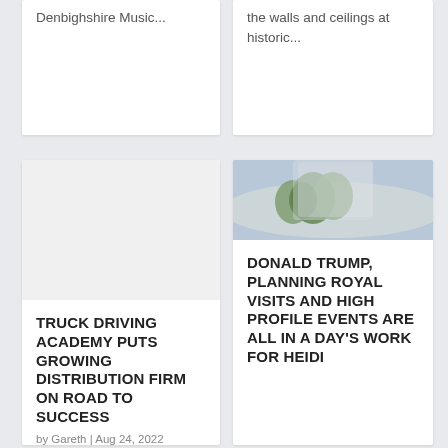Denbighshire Music...
the walls and ceilings at historic...
[Figure (photo): White card with blank image area for truck driving academy article]
TRUCK DRIVING ACADEMY PUTS GROWING DISTRIBUTION FIRM ON ROAD TO SUCCESS
by Gareth | Aug 24, 2022
[Figure (photo): Photo showing a curved white structure or truck roof with trees and sky in background]
DONALD TRUMP, PLANNING ROYAL VISITS AND HIGH PROFILE EVENTS ARE ALL IN A DAY'S WORK FOR HEIDI